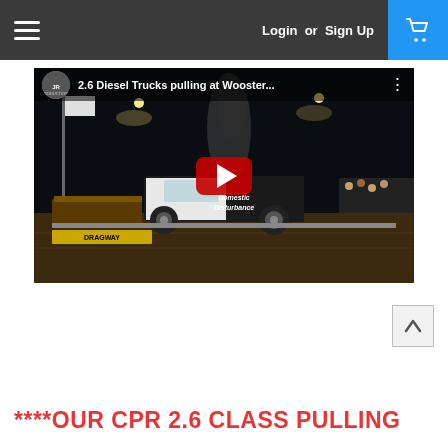Login  or  Sign Up
[Figure (screenshot): YouTube video thumbnail showing a diesel truck pulling competition at night. Title reads '2.6 Diesel Trucks pulling at Wooster...' with a red play button overlay. The truck is black and white with 'Domestic Disturbance' written on it.]
****OUR CPR 2.6 CLASS PULLING